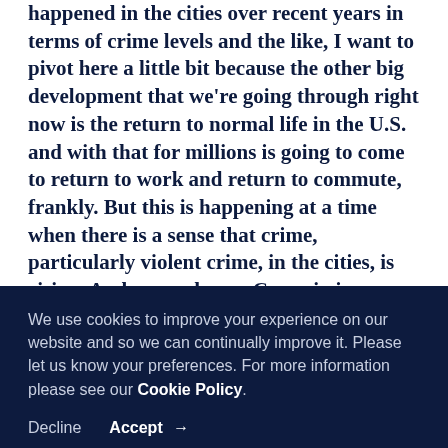happened in the cities over recent years in terms of crime levels and the like, I want to pivot here a little bit because the other big development that we're going through right now is the return to normal life in the U.S. and with that for millions is going to come to return to work and return to commute, frankly. But this is happening at a time when there is a sense that crime, particularly violent crime, in the cities, is rising. And as you know, Commissioner Bratton, that issue dominated a recent mayoral debate here in New York just the other night. But here's the thing, murders were up 43% in New York last year, shootings were up 97%, and not just in outer boroughs or anything like that.
We use cookies to improve your experience on our website and so we can continually improve it. Please let us know your preferences. For more information please see our Cookie Policy.